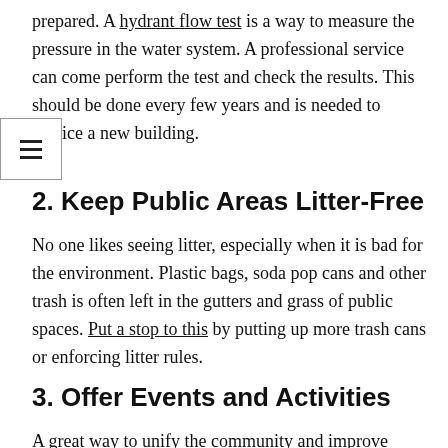prepared. A hydrant flow test is a way to measure the pressure in the water system. A professional service can come perform the test and check the results. This should be done every few years and is needed to service a new building.
2. Keep Public Areas Litter-Free
No one likes seeing litter, especially when it is bad for the environment. Plastic bags, soda pop cans and other trash is often left in the gutters and grass of public spaces. Put a stop to this by putting up more trash cans or enforcing litter rules.
3. Offer Events and Activities
A great way to unify the community and improve